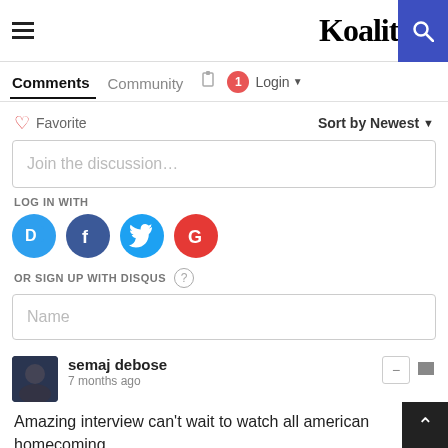Koalition
Comments  Community  Login
♡ Favorite    Sort by Newest
Join the discussion…
LOG IN WITH
[Figure (screenshot): Social login icons: Disqus (D), Facebook (f), Twitter bird, Google (G)]
OR SIGN UP WITH DISQUS ?
Name
semaj debose
7 months ago
Amazing interview can't wait to watch all american homecoming